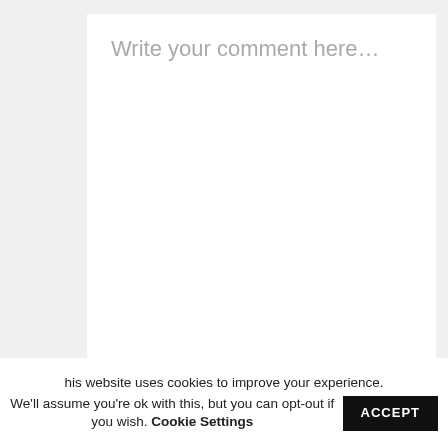[Figure (screenshot): Comment text area with placeholder text 'Write your comment here...']
[Figure (screenshot): Form input field with placeholder 'Your full name']
[Figure (screenshot): Form input field with placeholder 'E-mail address']
[Figure (screenshot): Social media sidebar with Facebook, Pinterest, Instagram, LinkedIn, and heart icons]
his website uses cookies to improve your experience. We'll assume you're ok with this, but you can opt-out if you wish. Cookie Settings ACCEPT